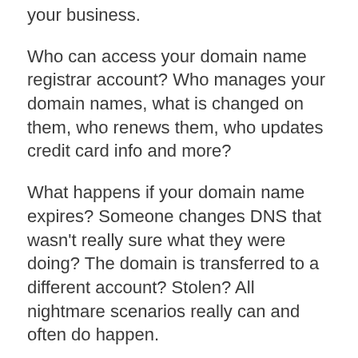your business.
Who can access your domain name registrar account? Who manages your domain names, what is changed on them, who renews them, who updates credit card info and more?
What happens if your domain name expires? Someone changes DNS that wasn't really sure what they were doing? The domain is transferred to a different account? Stolen? All nightmare scenarios really can and often do happen.
The first thing I'm doing for the security of my companies' main domain name is having Registry Lock applied to it. This locks the domain at a registry level (Verisign for .com/.net domains) and prevents unintended expiration, DNS changes or ownership changes. It's the equivalent of the secret service for